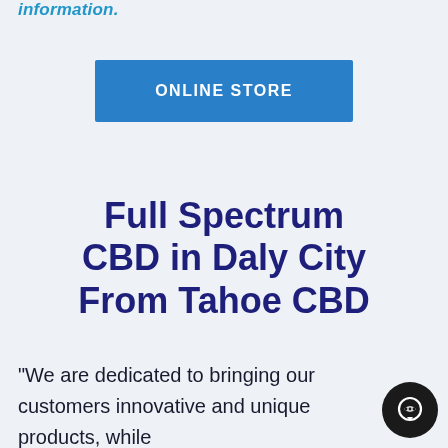information.
[Figure (other): Blue button labeled ONLINE STORE]
Full Spectrum CBD in Daly City From Tahoe CBD
“We are dedicated to bringing our customers innovative and unique products, while
[Figure (other): Black circular chat bubble icon in bottom right corner]